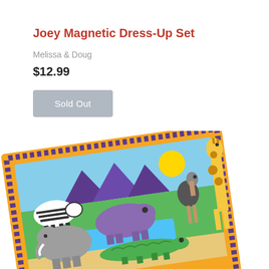Joey Magnetic Dress-Up Set
Melissa & Doug
$12.99
Sold Out
[Figure (photo): Photo of a children's magnetic animal puzzle/dress-up board showing safari animals including a zebra, hippo, elephant, crocodile, ostrich, and giraffe on a colorful board with orange and purple decorative border, set against a yellow background with mountains and sun.]